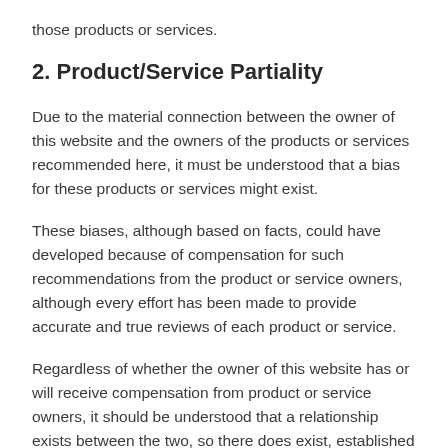those products or services.
2. Product/Service Partiality
Due to the material connection between the owner of this website and the owners of the products or services recommended here, it must be understood that a bias for these products or services might exist.
These biases, although based on facts, could have developed because of compensation for such recommendations from the product or service owners, although every effort has been made to provide accurate and true reviews of each product or service.
Regardless of whether the owner of this website has or will receive compensation from product or service owners, it should be understood that a relationship exists between the two, so there does exist, established or not, the